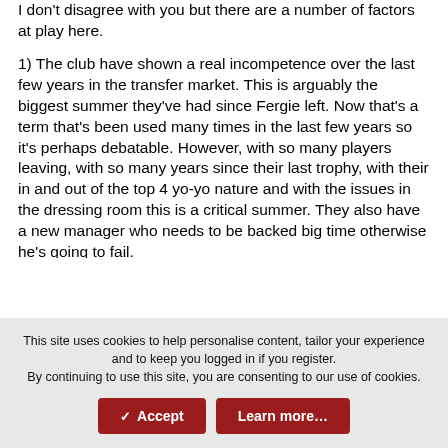I don't disagree with you but there are a number of factors at play here.
1) The club have shown a real incompetence over the last few years in the transfer market. This is arguably the biggest summer they've had since Fergie left. Now that's a term that's been used many times in the last few years so it's perhaps debatable. However, with so many players leaving, with so many years since their last trophy, with their in and out of the top 4 yo-yo nature and with the issues in the dressing room this is a critical summer. They also have a new manager who needs to be backed big time otherwise he's going to fail.
2) City and Liverpool have moved big and early. Now united aren't going to catch those teams in the next year or 2 but it still isn't a good look for United.
3) Even...
This site uses cookies to help personalise content, tailor your experience and to keep you logged in if you register.
By continuing to use this site, you are consenting to our use of cookies.